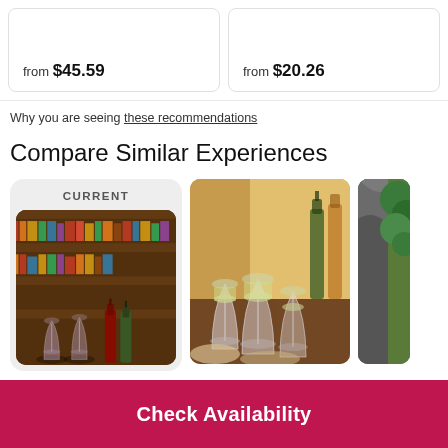from $45.59
from $20.26
Why you are seeing these recommendations
Compare Similar Experiences
[Figure (photo): Current experience card showing a bar/library scene with wine glasses and bottles in front of bookshelves]
[Figure (photo): Wine glasses filled with white wine on a table with food, warm lighting]
[Figure (photo): Partially visible outdoor/nature scene]
Check Availability